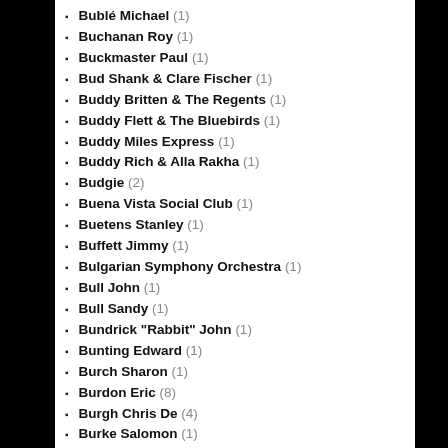Bublé Michael (1)
Buchanan Roy (1)
Buckmaster Paul (1)
Bud Shank & Clare Fischer (1)
Buddy Britten & The Regents (1)
Buddy Flett & The Bluebirds (1)
Buddy Miles Express (1)
Buddy Rich & Alla Rakha (1)
Budgie (2)
Buena Vista Social Club (1)
Buetens Stanley (1)
Buffett Jimmy (1)
Bulgarian Symphony Orchestra (1)
Bull John (1)
Bull Sandy (1)
Bundrick "Rabbit" John (1)
Bunting Edward (1)
Burch Sharon (1)
Burdon Eric (8)
Burgh Chris De (4)
Burke Salomon (1)
Burke Solomon (8)